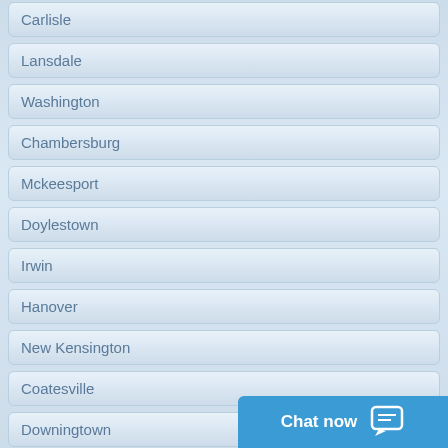Carlisle
Lansdale
Washington
Chambersburg
Mckeesport
Doylestown
Irwin
Hanover
New Kensington
Coatesville
Downingtown
Wilkes Barre
Southampton
Chester